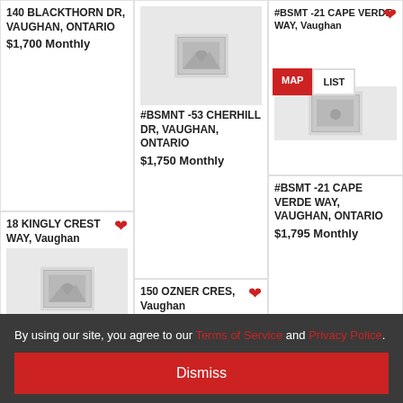140 BLACKTHORN DR, VAUGHAN, ONTARIO
$1,700 Monthly
18 KINGLY CREST WAY, Vaughan
#BSMNT -53 CHERHILL DR, VAUGHAN, ONTARIO
$1,750 Monthly
150 OZNER CRES, Vaughan
#BSMT -21 CAPE VERDE WAY, Vaughan
#BSMT -21 CAPE VERDE WAY, VAUGHAN, ONTARIO
$1,795 Monthly
161 CHEROKEE DR, Vaughan
By using our site, you agree to our Terms of Service and Privacy Police.
Dismiss